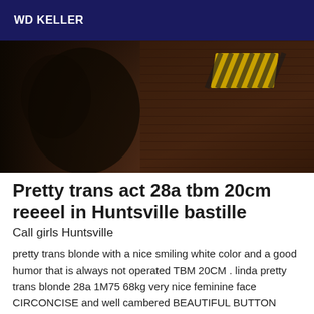WD KELLER
[Figure (photo): Dark indoor photograph showing what appears to be a dimly lit brick wall environment with a yellow and black striped warning sign visible in the upper right area.]
Pretty trans act 28a tbm 20cm reeeel in Huntsville bastille
Call girls Huntsville
pretty trans blonde with a nice smiling white color and a good humor that is always not operated TBM 20CM . linda pretty trans blonde 28a 1M75 68kg very nice feminine face CIRCONCISE and well cambered BEAUTIFUL BUTTON GIRTON in lace stiletto heel suspender belt or THE dominating queen in vinyl gloves and waders. I am always listening and ready to help you